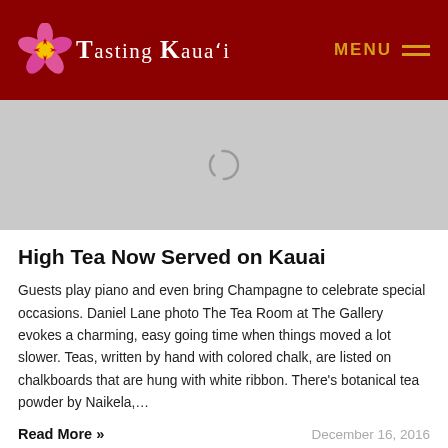Tasting Kaua'i — MENU
[Figure (photo): Gray image placeholder with a loading spinner icon in the center]
High Tea Now Served on Kauai
Guests play piano and even bring Champagne to celebrate special occasions. Daniel Lane photo The Tea Room at The Gallery evokes a charming, easy going time when things moved a lot slower. Teas, written by hand with colored chalk, are listed on chalkboards that are hung with white ribbon. There's botanical tea powder by Naikela,…
Read More »
December 16, 2016